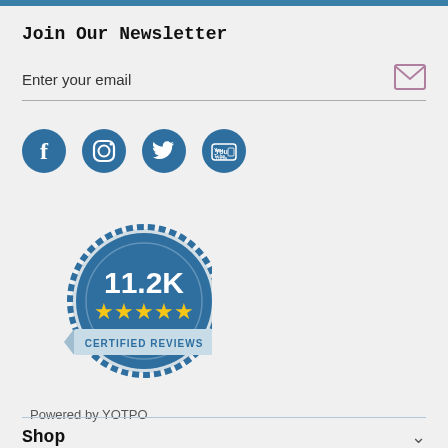Join Our Newsletter
Enter your email
[Figure (illustration): Social media icons: Facebook, Instagram, Twitter, YouTube]
[Figure (illustration): YOTPO certified reviews badge showing 11.2K reviews with 5 stars, text: CERTIFIED REVIEWS, Powered by YOTPO]
Shop